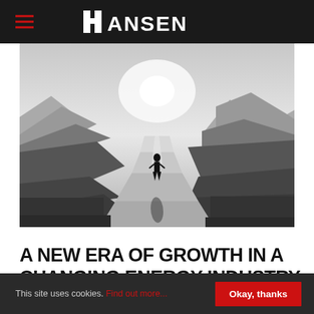HANSEN
[Figure (photo): Black and white landscape photo of a lone person walking down a winding road toward mountains with sun breaking through on the horizon.]
A NEW ERA OF GROWTH IN A CHANGING ENERGY INDUSTRY
This site uses cookies. Find out more. Okay, thanks